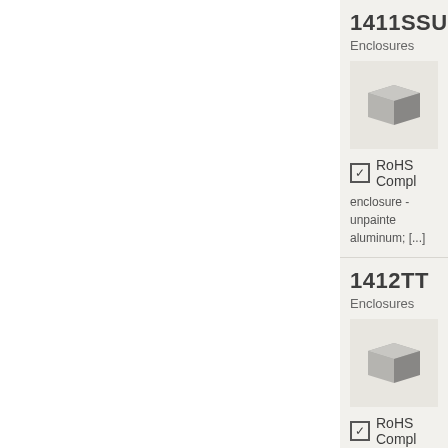1411SSU
Enclosures
[Figure (photo): 3D render of a rectangular aluminum enclosure box, unpainted, viewed from slightly above]
RoHS Compl
enclosure - unpainte aluminum; [...]
1412TT
Enclosures
[Figure (photo): 3D render of a rectangular enclosure box, ASA 61, viewed from slightly above]
RoHS Compl
enclosure - ASA 61 g [...]
1411FBCU
Enclosures